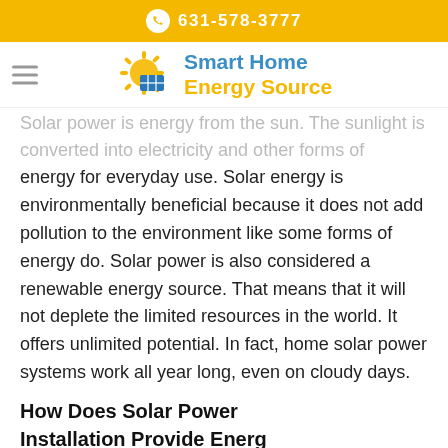631-578-3777
[Figure (logo): Smart Home Energy Source logo with sun and solar panels icon]
Solar power is energy from the sun. The sunlight is converted into electricity and other forms of energy for everyday use. Solar energy is environmentally beneficial because it does not add pollution to the environment like some forms of energy do. Solar power is also considered a renewable energy source. That means that it will not deplete the limited resources in the world. It offers unlimited potential. In fact, home solar power systems work all year long, even on cloudy days.
How Does Solar Power Installation Provide Energy Inside the Home or Commercial Building?